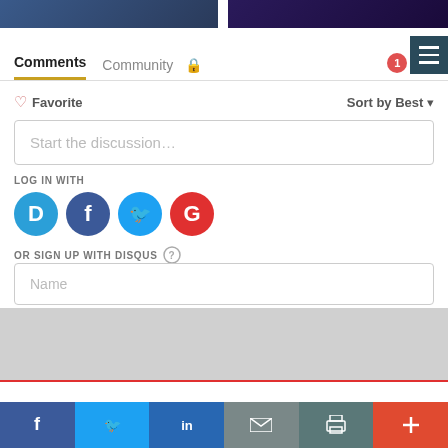[Figure (screenshot): Top portion of two article thumbnail images cropped at top of page. Left image dark blue/navy, right image dark purple.]
Comments  Community  🔒  Login
❤ Favorite    Sort by Best ▾
Start the discussion…
LOG IN WITH
[Figure (logo): Social login icons: Disqus (blue D), Facebook (dark blue f), Twitter (light blue bird), Google (red G)]
OR SIGN UP WITH DISQUS ?
Name
Facebook  Twitter  LinkedIn  Mail  Print  +